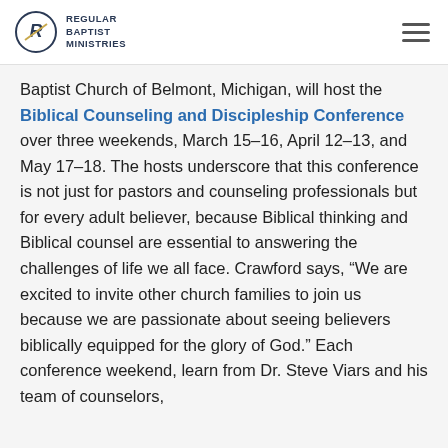Regular Baptist Ministries
Baptist Church of Belmont, Michigan, will host the Biblical Counseling and Discipleship Conference over three weekends, March 15–16, April 12–13, and May 17–18. The hosts underscore that this conference is not just for pastors and counseling professionals but for every adult believer, because Biblical thinking and Biblical counsel are essential to answering the challenges of life we all face. Crawford says, “We are excited to invite other church families to join us because we are passionate about seeing believers biblically equipped for the glory of God.” Each conference weekend, learn from Dr. Steve Viars and his team of counselors,